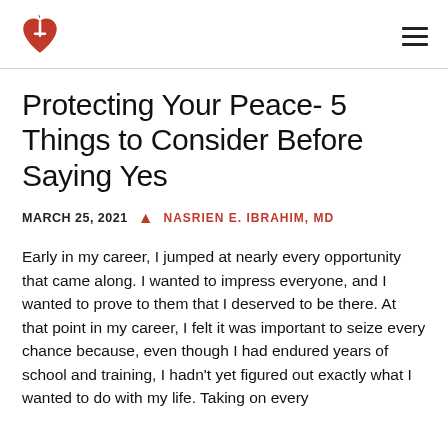American Heart Association logo and navigation menu
Protecting Your Peace- 5 Things to Consider Before Saying Yes
MARCH 25, 2021  NASRIEN E. IBRAHIM, MD
Early in my career, I jumped at nearly every opportunity that came along. I wanted to impress everyone, and I wanted to prove to them that I deserved to be there. At that point in my career, I felt it was important to seize every chance because, even though I had endured years of school and training, I hadn't yet figured out exactly what I wanted to do with my life. Taking on every